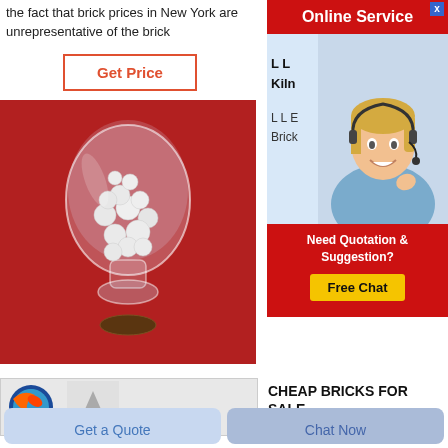the fact that brick prices in New York are unrepresentative of the brick
[Figure (other): Get Price button with red border and red text on white background]
[Figure (photo): Photo of white ceramic balls in a glass vase on a red background]
[Figure (other): Online Service advertisement with a customer service representative wearing a headset, red banner at top saying Online Service, text L L Kiln, L L E Brick, and Need Quotation & Suggestion? Free Chat button]
L L
Kiln
L L E
Brick
[Figure (other): Bottom section showing a Firefox logo and a grey shape, with text CHEAP BRICKS FOR SALE]
CHEAP BRICKS FOR SALE
[Figure (other): Get a Quote button at the bottom left]
[Figure (other): Chat Now button at the bottom right]